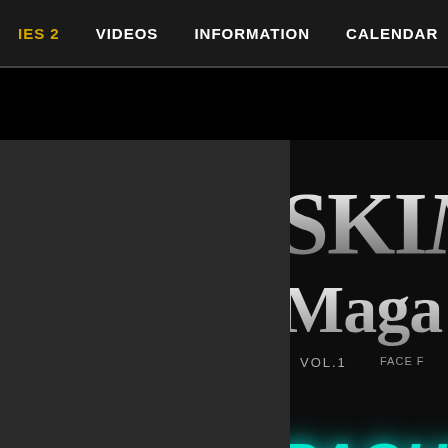IES 2   VIDEOS   INFORMATION   CALENDAR   SHO
[Figure (screenshot): Website screenshot showing a navigation bar at top with menu items IES 2, VIDEOS, INFORMATION, CALENDAR, SHO (truncated). Below is a dark magazine cover image showing 'SKIN Maga(zine)' in large silver serif text, 'VOL.1' and 'FACE' subtitle text, and 'PASHUB' in large glowing teal/cyan italic text at the bottom. A dark grey sidebar panel is visible on the left.]